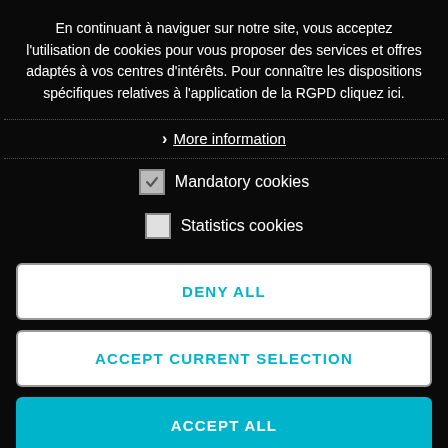En continuant à naviguer sur notre site, vous acceptez l'utilisation de cookies pour vous proposer des services et offres adaptés à vos centres d'intérêts. Pour connaître les dispositions spécifiques relatives à l'application de la RGPD cliquez ici.
> More information
☑ Mandatory cookies
☐ Statistics cookies
DENY ALL
ACCEPT CURRENT SELECTION
ACCEPT ALL
[Figure (photo): Bottom strip showing people photo partially visible]